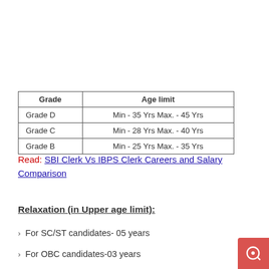| Grade | Age limit |
| --- | --- |
| Grade D | Min - 35 Yrs Max. - 45 Yrs |
| Grade C | Min - 28 Yrs Max. - 40 Yrs |
| Grade B | Min - 25 Yrs Max. - 35 Yrs |
Read: SBI Clerk Vs IBPS Clerk Careers and Salary Comparison
Relaxation (in Upper age limit):
For SC/ST candidates- 05 years
For OBC candidates-03 years
Pay Scale: